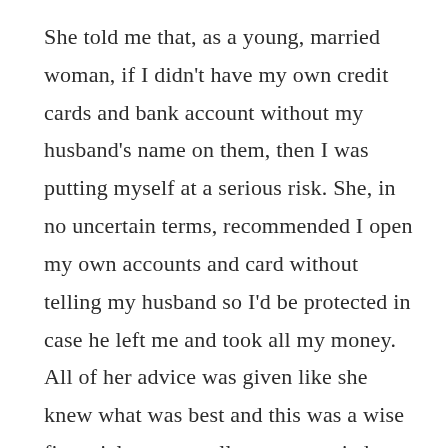She told me that, as a young, married woman, if I didn't have my own credit cards and bank account without my husband's name on them, then I was putting myself at a serious risk. She, in no uncertain terms, recommended I open my own accounts and card without telling my husband so I'd be protected in case he left me and took all my money. All of her advice was given like she knew what was best and this was a wise financial measure all young married women should take to protect themselves. The other teller chimed in expressing